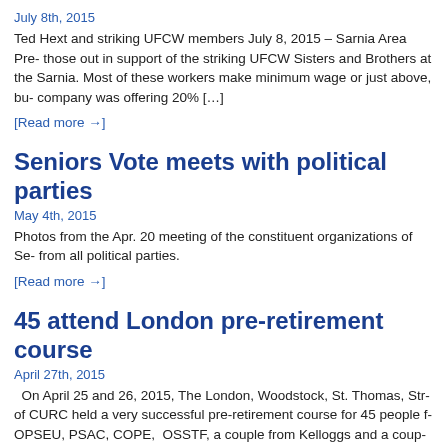July 8th, 2015
Ted Hext and striking UFCW members July 8, 2015 – Sarnia Area Pre- those out in support of the striking UFCW Sisters and Brothers at the Sarnia. Most of these workers make minimum wage or just above, bu- company was offering 20% […]
[Read more →]
Seniors Vote meets with political parties
May 4th, 2015
Photos from the Apr. 20 meeting of the constituent organizations of Se- from all political parties.
[Read more →]
45 attend London pre-retirement course
April 27th, 2015
On April 25 and 26, 2015, The London, Woodstock, St. Thomas, Str- of CURC held a very successful pre-retirement course for 45 people f- OPSEU, PSAC, COPE, OSSTF, a couple from Kelloggs and a coup- Spenser who is CURC Benefits Consultant […]
[Read more →]